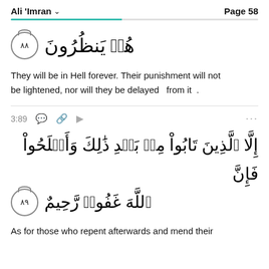Ali 'Imran  Page 58
هُمۡ يَنظُرُونَ ٨٨
They will be in Hell forever. Their punishment will not be lightened, nor will they be delayed  from it .
3:89
إِلَّا ٱلَّذِينَ تَابُواْ مِنۢ بَعۡدِ ذَٰلِكَ وَأَصۡلَحُواْ فَإِنَّ ٱللَّهَ غَفُورٞ رَّحِيمٌ ٨٩
As for those who repent afterwards and mend their